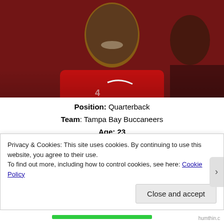[Figure (photo): Photo of a smiling young man in a red football jersey, partially cropped showing face and upper body]
Position: Quarterback
Team: Tampa Bay Buccaneers
Age: 23
Relationship status: In a relationship
15. OJ Howard
[Figure (photo): Broken/unloaded image labeled 'Related image']
Position: Tight End
Privacy & Cookies: This site uses cookies. By continuing to use this website, you agree to their use.
To find out more, including how to control cookies, see here: Cookie Policy